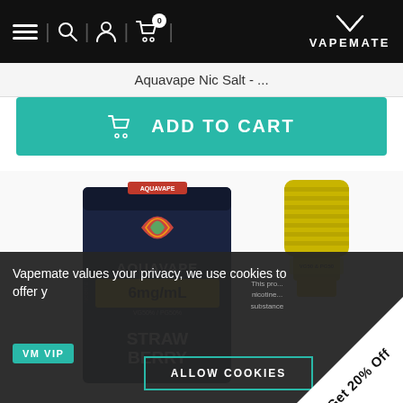VAPEMATE — navigation header with menu, search, account, cart (0) icons
Aquavape Nic Salt - ...
ADD TO CART
[Figure (photo): Aquavape Nic Salt product box (navy blue, 6mg/mL, VG50%/PG50%, Strawberry flavour) next to a yellow dropper bottle cap, on white background]
Vapemate values your privacy, we use cookies to offer y
VM VIP
This pro... nicotine... substance
ALLOW COOKIES
Get 20% Off